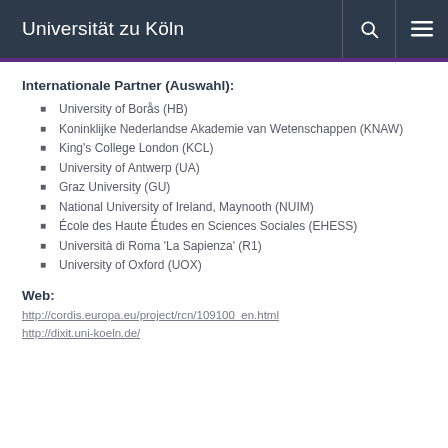Universität zu Köln
Internationale Partner (Auswahl):
University of Borås (HB)
Koninklijke Nederlandse Akademie van Wetenschappen (KNAW)
King's College London (KCL)
University of Antwerp (UA)
Graz University (GU)
National University of Ireland, Maynooth (NUIM)
École des Haute Études en Sciences Sociales (EHESS)
Università di Roma 'La Sapienza' (R1)
University of Oxford (UOX)
Web:
http://cordis.europa.eu/project/rcn/109100_en.html
http://dixit.uni-koeln.de/